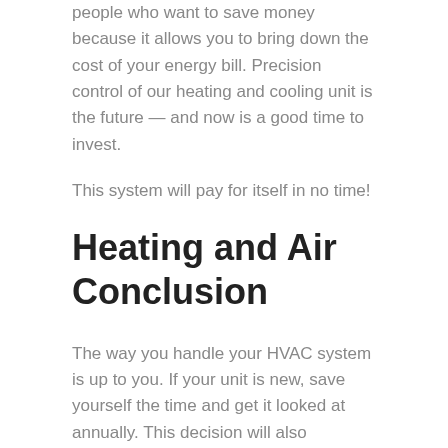people who want to save money because it allows you to bring down the cost of your energy bill. Precision control of our heating and cooling unit is the future — and now is a good time to invest.
This system will pay for itself in no time!
Heating and Air Conclusion
The way you handle your HVAC system is up to you. If your unit is new, save yourself the time and get it looked at annually. This decision will also decrease the chance that you are left without heat or air conditioning — depending on the time of the year.